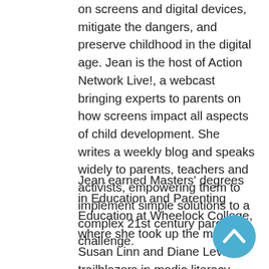on screens and digital devices, mitigate the dangers, and preserve childhood in the digital age. Jean is the host of Action Network Live!, a webcast bringing experts to parents on how screens impact all aspects of child development. She writes a weekly blog and speaks widely to parents, teachers and activists, empowering them to implement simple solutions to a complex 21st century parenting challenge.
Jean earned Masters' degrees in Education and Parenting Education at Wheelock College, where she took up the mantel of Susan Linn and Diane Levin, trailblazers in media literacy, play-based learning, and avoiding a commercialized childhood. Prior
[Figure (other): Blue circular scroll-to-top button with upward chevron arrow icon, positioned in the bottom-right area of the page]